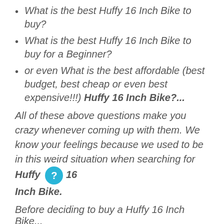What is the best Huffy 16 Inch Bike to buy?
What is the best Huffy 16 Inch Bike to buy for a Beginner?
or even What is the best affordable (best budget, best cheap or even best expensive!!!) Huffy 16 Inch Bike?...
All of these above questions make you crazy whenever coming up with them. We know your feelings because we used to be in this weird situation when searching for Huffy 16 Inch Bike.
Before deciding to buy a Huffy 16 Inch Bike...